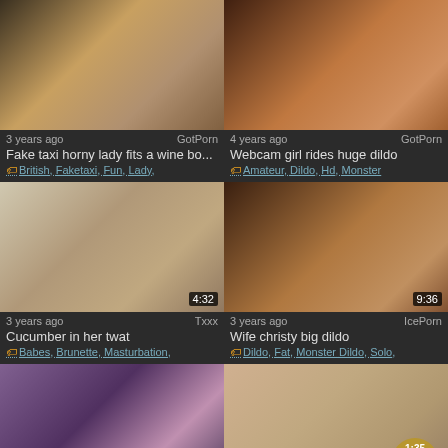[Figure (photo): Video thumbnail 1 - Fake taxi]
3 years ago	GotPorn
Fake taxi horny lady fits a wine bo...
British, Faketaxi, Fun, Lady,
[Figure (photo): Video thumbnail 2 - Webcam girl]
4 years ago	GotPorn
Webcam girl rides huge dildo
Amateur, Dildo, Hd, Monster
[Figure (photo): Video thumbnail 3 - Cucumber, 4:32]
3 years ago	Txxx
Cucumber in her twat
Babes, Brunette, Masturbation,
[Figure (photo): Video thumbnail 4 - Wife christy, 9:36]
3 years ago	IcePorn
Wife christy big dildo
Dildo, Fat, Monster Dildo, Solo,
[Figure (photo): Video thumbnail 5 - Alexsis, 6:06]
3 years ago	hClips
Alexsis sweet stuffs her twat with ...
Bbw, Masturbation, Milf, Monster
[Figure (photo): Video thumbnail 6 - Anal tease, 1:35 JizzBunker]
3 years ago
Anal tease w cucumber
Amateur, Anal, Masturbation,